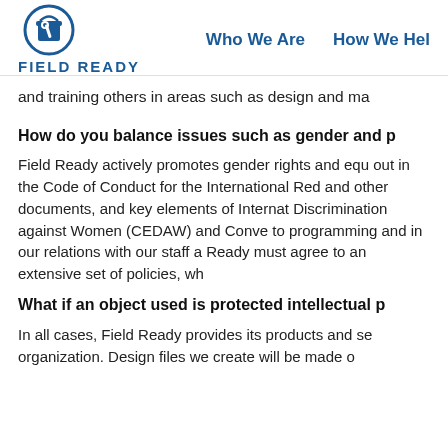[Figure (logo): Field Ready logo: a blue circle with a bucket icon and the text FIELD READY below in bold blue capital letters]
Who We Are   How We Hel
and training others in areas such as design and ma
How do you balance issues such as gender and p
Field Ready actively promotes gender rights and equ out in the Code of Conduct for the International Red and other documents, and key elements of Internat Discrimination against Women (CEDAW) and Conve to programming and in our relations with our staff a Ready must agree to an extensive set of policies, wh
What if an object used is protected intellectual p
In all cases, Field Ready provides its products and se organization. Design files we create will be made o